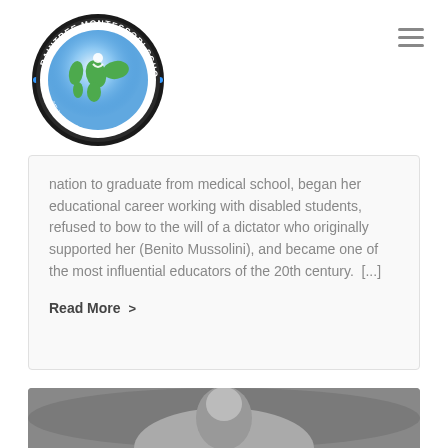[Figure (logo): Raintree Montessori School circular logo with globe and text 'Educate for peace']
nation to graduate from medical school, began her educational career working with disabled students, refused to bow to the will of a dictator who originally supported her (Benito Mussolini), and became one of the most influential educators of the 20th century.  [...]
Read More >
[Figure (photo): Black and white photo of a person, partially visible at bottom of page]